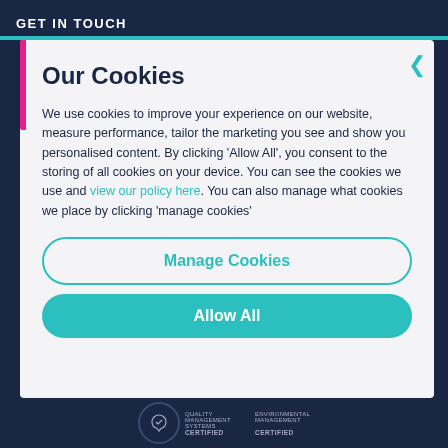GET IN TOUCH
Our Cookies
We use cookies to improve your experience on our website, measure performance, tailor the marketing you see and show you personalised content. By clicking 'Allow All', you consent to the storing of all cookies on your device. You can see the cookies we use and view our policy here. You can also manage what cookies we place by clicking 'manage cookies'
Manage Cookies
Allow All
Quality Management Systems CERTIFIED | Environmental Management CERTIFIED